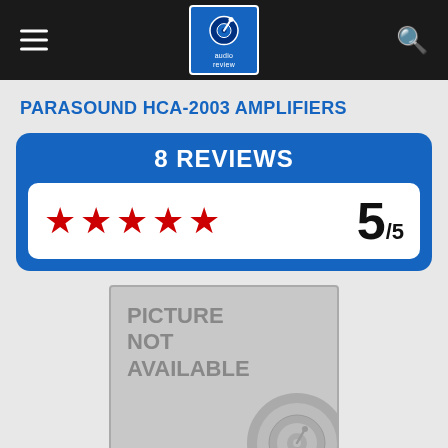audio review
PARASOUND HCA-2003 AMPLIFIERS
[Figure (infographic): Blue rounded rectangle showing '8 REVIEWS' in white bold text at top, and a white inner box with 5 red stars and score '5/5' in bold black text]
[Figure (photo): Gray placeholder box with text 'PICTURE NOT AVAILABLE' and a circular logo watermark in the lower right corner]